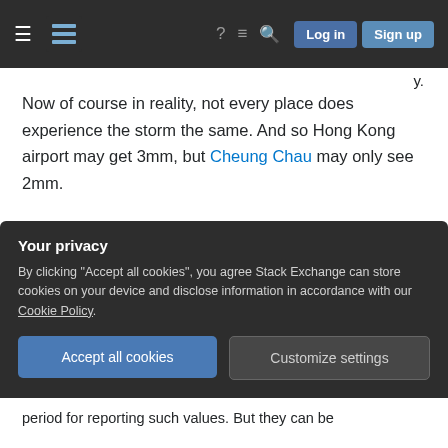Navigation bar with Stack Exchange logo, hamburger menu, icons, Log in and Sign up buttons
Now of course in reality, not every place does experience the storm the same. And so Hong Kong airport may get 3mm, but Cheung Chau may only see 2mm.
And it's still true that a storm that affects a larger area with 3mm of rainfall does put down more total water quantity in entirety. If the same storm hits all of China, that's indeed a lot of water! But of course it's also a larger area to absorb that water. So
Your privacy
By clicking "Accept all cookies", you agree Stack Exchange can store cookies on your device and disclose information in accordance with our Cookie Policy.
Accept all cookies   Customize settings
period for reporting such values. But they can be